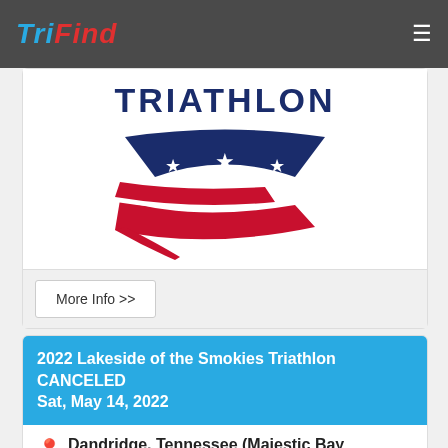TriFind
[Figure (logo): USA Triathlon logo with stars and swoosh design, text TRIATHLON in dark blue]
More Info >>
2022 Lakeside of the Smokies Triathlon CANCELED
Sat, May 14, 2022
Dandridge, Tennessee (Majestic Bay Neighborhood)
Sprint Triathlon :
Triathlon : Swim 750 Meters, Bike 16 Miles, Run 3 Miles